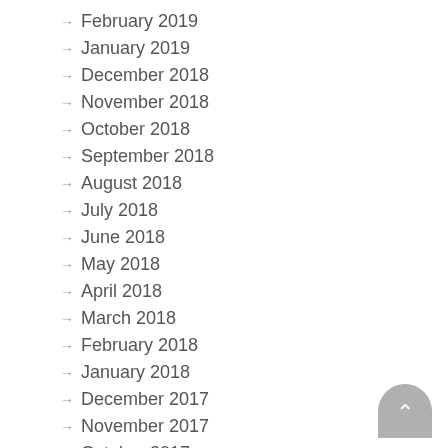February 2019
January 2019
December 2018
November 2018
October 2018
September 2018
August 2018
July 2018
June 2018
May 2018
April 2018
March 2018
February 2018
January 2018
December 2017
November 2017
October 2017